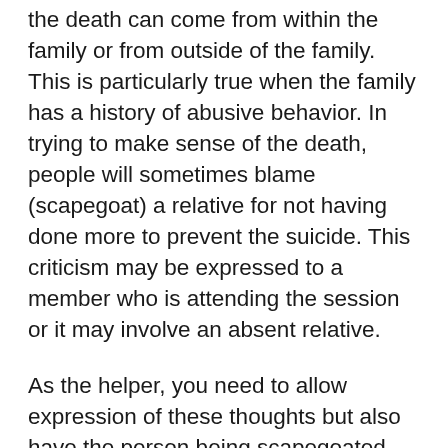the death can come from within the family or from outside of the family. This is particularly true when the family has a history of abusive behavior. In trying to make sense of the death, people will sometimes blame (scapegoat) a relative for not having done more to prevent the suicide. This criticism may be expressed to a member who is attending the session or it may involve an absent relative.
As the helper, you need to allow expression of these thoughts but also have the person being scapegoated say how they feel about being blamed. Questions such as “what happened the time before when Joan was depressed or took pills? or “Just because Joe’s girl-friend broke up with him, did any of you expect him to take his own life?” can help bring things back into perspective.
This sense that others are saying (or thinking) that a